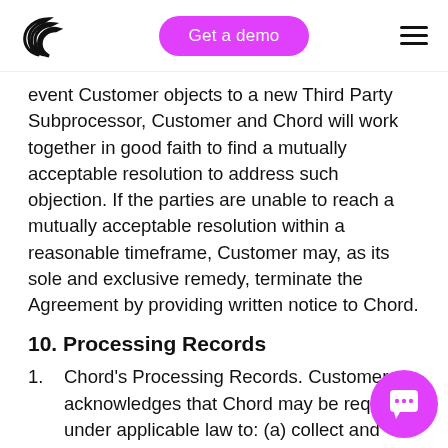Chord Commerce — Get a demo
event Customer objects to a new Third Party Subprocessor, Customer and Chord will work together in good faith to find a mutually acceptable resolution to address such objection. If the parties are unable to reach a mutually acceptable resolution within a reasonable timeframe, Customer may, as its sole and exclusive remedy, terminate the Agreement by providing written notice to Chord.
10. Processing Records
Chord's Processing Records. Customer acknowledges that Chord may be required under applicable law to: (a) collect and maintain records of certain information, including the name and contact details of each Processor and/or Controller